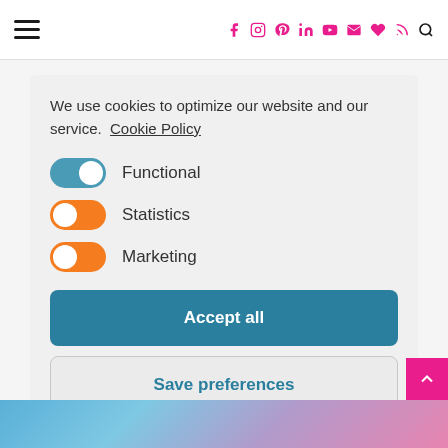Navigation bar with hamburger menu and social icons (facebook, instagram, pinterest, linkedin, youtube, email, heart, rss, search)
We use cookies to optimize our website and our service.  Cookie Policy
Functional (toggle: on, blue)
Statistics (toggle: on, orange)
Marketing (toggle: on, orange)
Accept all
Save preferences